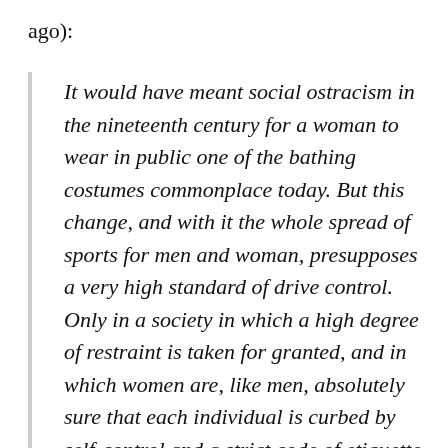ago):
It would have meant social ostracism in the nineteenth century for a woman to wear in public one of the bathing costumes commonplace today. But this change, and with it the whole spread of sports for men and woman, presupposes a very high standard of drive control. Only in a society in which a high degree of restraint is taken for granted, and in which women are, like men, absolutely sure that each individual is curbed by self-control and a strict code of etiquette, can bathing and sporting customs